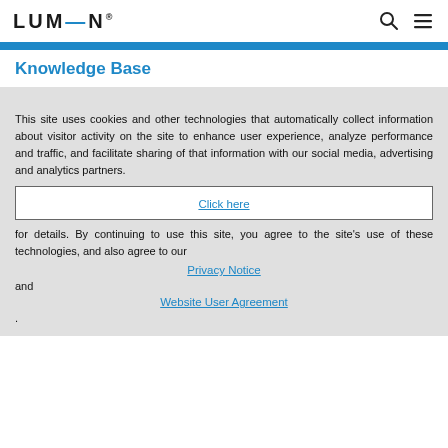LUMEN (logo with search and menu icons)
Knowledge Base
This site uses cookies and other technologies that automatically collect information about visitor activity on the site to enhance user experience, analyze performance and traffic, and facilitate sharing of that information with our social media, advertising and analytics partners.
Click here
for details. By continuing to use this site, you agree to the site's use of these technologies, and also agree to our
Privacy Notice
and
Website User Agreement
.